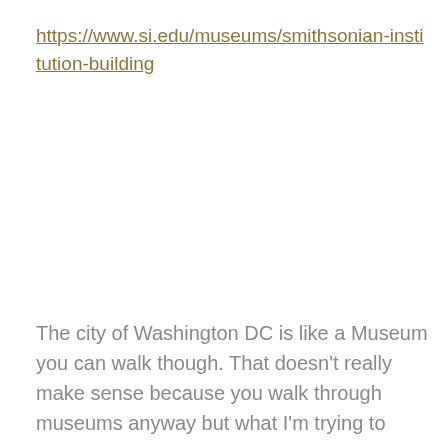https://www.si.edu/museums/smithsonian-institution-building
The city of Washington DC is like a Museum you can walk though. That doesn't really make sense because you walk through museums anyway but what I'm trying to